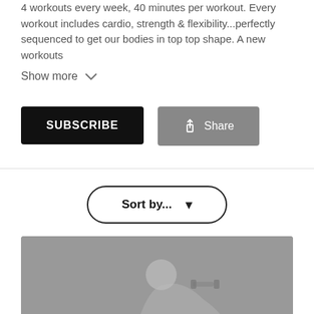4 workouts every week, 40 minutes per workout. Every workout includes cardio, strength & flexibility...perfectly sequenced to get our bodies in top top shape. A new workouts
Show more
SUBSCRIBE
Share
Sort by...
[Figure (photo): Thumbnail image showing a woman exercising with dumbbells, with text 'FIERCE 4' overlaid at the bottom]